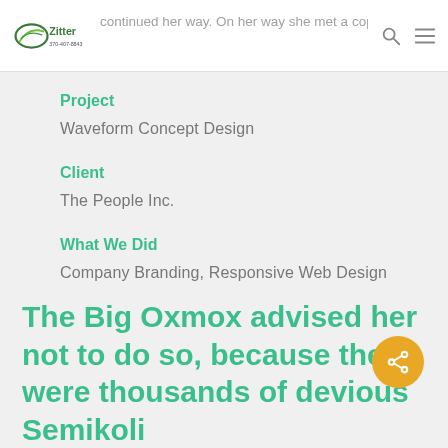continued her way. On her way she met a copy.
Project
Waveform Concept Design
Client
The People Inc.
What We Did
Company Branding, Responsive Web Design
The Big Oxmox advised her not to do so, because there were thousands of devious Semikoli